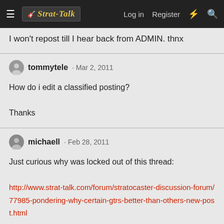Strat-Talk | Log in | Register
I won't repost till I hear back from ADMIN. thnx
tommytele · Mar 2, 2011
How do i edit a classified posting?

Thanks
michaell · Feb 28, 2011
Just curious why was locked out of this thread:
http://www.strat-talk.com/forum/stratocaster-discussion-forum/77985-pondering-why-certain-gtrs-better-than-others-new-post.html
I had difficulty trying to open a new " reply", not a resonse